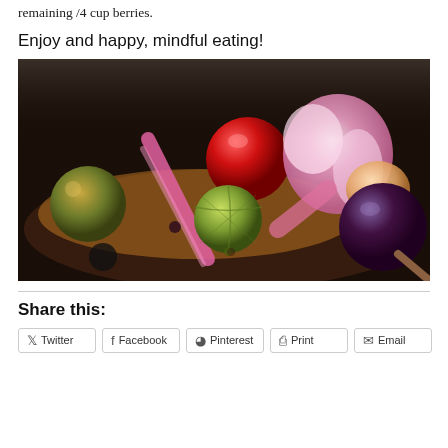remaining /4 cup berries.
Enjoy and happy, mindful eating!
[Figure (photo): Close-up photo of colorful mixed berries and fruits on a dark plate/spoon, including red cherry, green gooseberry, dark plum/grape, pink flower petal garnish, and other fruits arranged together. Dark background.]
Share this:
Twitter
Facebook
Pinterest
Print
Email